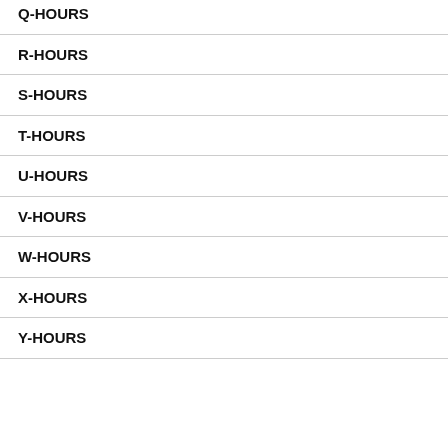Q-HOURS
R-HOURS
S-HOURS
T-HOURS
U-HOURS
V-HOURS
W-HOURS
X-HOURS
Y-HOURS